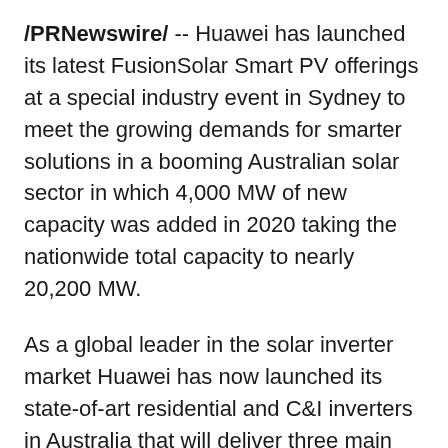/PRNewswire/ -- Huawei has launched its latest FusionSolar Smart PV offerings at a special industry event in Sydney to meet the growing demands for smarter solutions in a booming Australian solar sector in which 4,000 MW of new capacity was added in 2020 taking the nationwide total capacity to nearly 20,200 MW.
As a global leader in the solar inverter market Huawei has now launched its state-of-art residential and C&I inverters in Australia that will deliver three main benefits to users: optimal electricity cost, active safety and better experience.